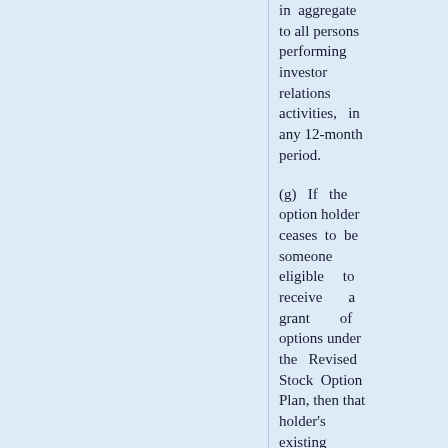in aggregate to all persons performing investor relations activities, in any 12-month period.
(g) If the option holder ceases to be someone eligible to receive a grant of options under the Revised Stock Option Plan, then that holder's existing options shall expire on the earlier of (i) the expiry date fixed at the time of the option grant